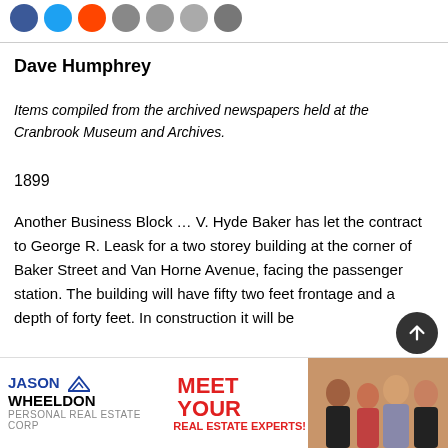[Figure (illustration): Row of social media sharing icons: Facebook (blue), Twitter (blue), Reddit (orange), Email (grey), Print (grey), Comment (grey), Share (dark grey)]
Dave Humphrey
Items compiled from the archived newspapers held at the Cranbrook Museum and Archives.
1899
Another Business Block … V. Hyde Baker has let the contract to George R. Leask for a two storey building at the corner of Baker Street and Van Horne Avenue, facing the passenger station. The building will have fifty two feet frontage and a depth of forty feet. In construction it will be
[Figure (illustration): Advertisement banner: Jason Wheeldon Meet Your Real Estate Experts! with photo of real estate team members]